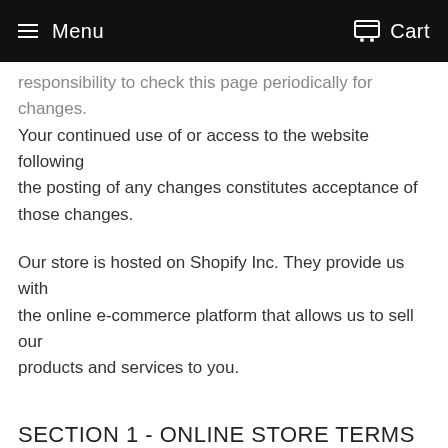Menu   Cart
responsibility to check this page periodically for changes. Your continued use of or access to the website following the posting of any changes constitutes acceptance of those changes.
Our store is hosted on Shopify Inc. They provide us with the online e-commerce platform that allows us to sell our products and services to you.
SECTION 1 - ONLINE STORE TERMS
By agreeing to these Terms of Service, you represent that you are at least the age of majority in your state or province of residence, or that you are the age of majority in your state or province of residence and you have given us